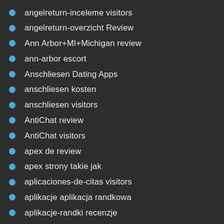angelreturn-inceleme visitors
angelreturn-overzicht Review
Ann Arbor+MI+Michigan review
ann-arbor escort
Anschliesen Dating Apps
anschliesen kosten
anschliesen visitors
AntiChat review
AntiChat visitors
apex de review
apex strony takie jak
aplicaciones-de-citas visitors
aplikacje aplikacja randkowa
aplikacje-randki recenzje
app-di-incontri-costi